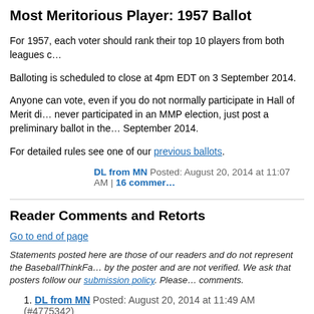Most Meritorious Player: 1957 Ballot
For 1957, each voter should rank their top 10 players from both leagues c…
Balloting is scheduled to close at 4pm EDT on 3 September 2014.
Anyone can vote, even if you do not normally participate in Hall of Merit di… never participated in an MMP election, just post a preliminary ballot in the… September 2014.
For detailed rules see one of our previous ballots.
DL from MN Posted: August 20, 2014 at 11:07 AM | 16 commer…
Reader Comments and Retorts
Go to end of page
Statements posted here are those of our readers and do not represent the BaseballThinkFa… by the poster and are not verified. We ask that posters follow our submission policy. Please… comments.
DL from MN Posted: August 20, 2014 at 11:49 AM (#4775342) 1957 ballot